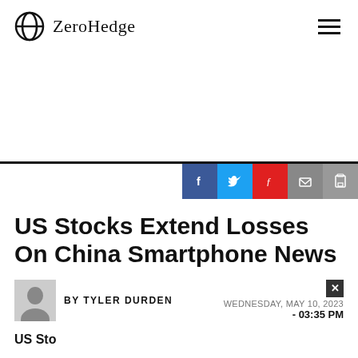ZeroHedge
US Stocks Extend Losses On China Smartphone News
BY TYLER DURDEN
WEDNESDAY, MAY 10, 2023 - 03:35 PM
US Sto...